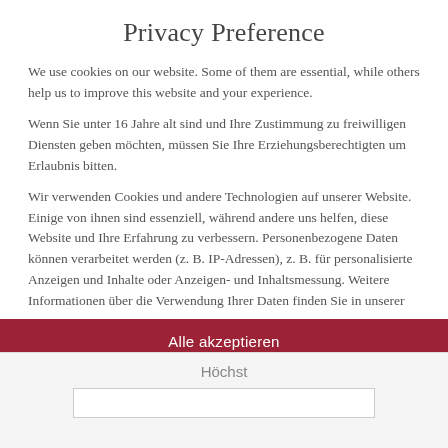Privacy Preference
We use cookies on our website. Some of them are essential, while others help us to improve this website and your experience.
Wenn Sie unter 16 Jahre alt sind und Ihre Zustimmung zu freiwilligen Diensten geben möchten, müssen Sie Ihre Erziehungsberechtigten um Erlaubnis bitten.
Wir verwenden Cookies und andere Technologien auf unserer Website. Einige von ihnen sind essenziell, während andere uns helfen, diese Website und Ihre Erfahrung zu verbessern. Personenbezogene Daten können verarbeitet werden (z. B. IP-Adressen), z. B. für personalisierte Anzeigen und Inhalte oder Anzeigen- und Inhaltsmessung. Weitere Informationen über die Verwendung Ihrer Daten finden Sie in unserer
Essential
Statistics
Höchst